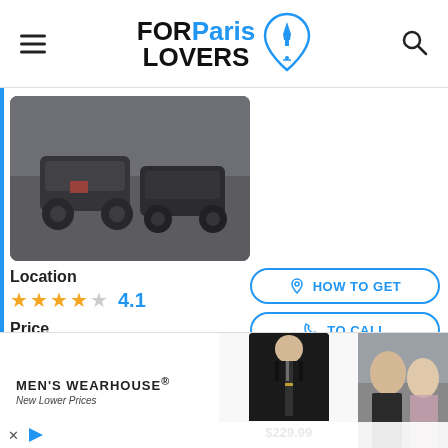FOR Paris LOVERS
[Figure (photo): Street scene with cars and motorcycles in Paris, viewed from above in rainy conditions]
Location
★★★★☆ 4.1
Price
★★★★½ 4.4
Classroom
★★★★☆ 4.1
[Figure (screenshot): Action buttons: HOW TO GET, TO CALL, WHATSAPP]
[Figure (photo): Men's Wearhouse advertisement showing suit for $229.99 and couple in formal wear]